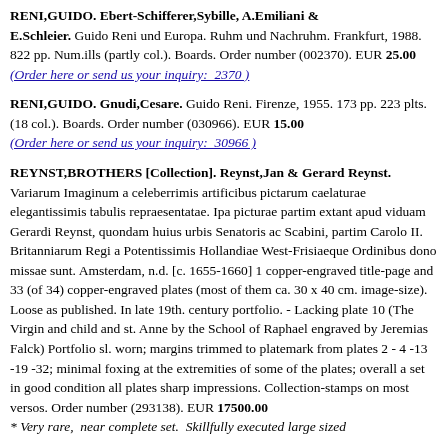RENI,GUIDO. Ebert-Schifferer,Sybille, A.Emiliani & E.Schleier. Guido Reni und Europa. Ruhm und Nachruhm. Frankfurt, 1988. 822 pp. Num.ills (partly col.). Boards. Order number (002370). EUR 25.00 (Order here or send us your inquiry: 2370 )
RENI,GUIDO. Gnudi,Cesare. Guido Reni. Firenze, 1955. 173 pp. 223 plts. (18 col.). Boards. Order number (030966). EUR 15.00 (Order here or send us your inquiry: 30966 )
REYNST,BROTHERS [Collection]. Reynst,Jan & Gerard Reynst. Variarum Imaginum a celeberrimis artificibus pictarum caelaturae elegantissimis tabulis repraesentatae. Ipa picturae partim extant apud viduam Gerardi Reynst, quondam huius urbis Senatoris ac Scabini, partim Carolo II. Britanniarum Regi a Potentissimis Hollandiae West-Frisiaeque Ordinibus dono missae sunt. Amsterdam, n.d. [c. 1655-1660] 1 copper-engraved title-page and 33 (of 34) copper-engraved plates (most of them ca. 30 x 40 cm. image-size). Loose as published. In late 19th. century portfolio. - Lacking plate 10 (The Virgin and child and st. Anne by the School of Raphael engraved by Jeremias Falck) Portfolio sl. worn; margins trimmed to platemark from plates 2 - 4 -13 -19 -32; minimal foxing at the extremities of some of the plates; overall a set in good condition all plates sharp impressions. Collection-stamps on most versos. Order number (293138). EUR 17500.00 * Very rare, near complete set. Skillfully executed large sized